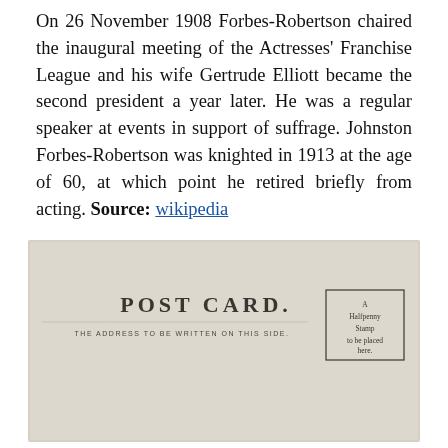On 26 November 1908 Forbes-Robertson chaired the inaugural meeting of the Actresses' Franchise League and his wife Gertrude Elliott became the second president a year later. He was a regular speaker at events in support of suffrage. Johnston Forbes-Robertson was knighted in 1913 at the age of 60, at which point he retired briefly from acting. Source: wikipedia
[Figure (photo): Back of a vintage postcard with beige/cream background. Text reads 'POST CARD.' in large letters, below that 'THE ADDRESS TO BE WRITTEN ON THIS SIDE.' in small caps. A small box in the upper right reads 'A Halfpenny Stamp to be placed here.']